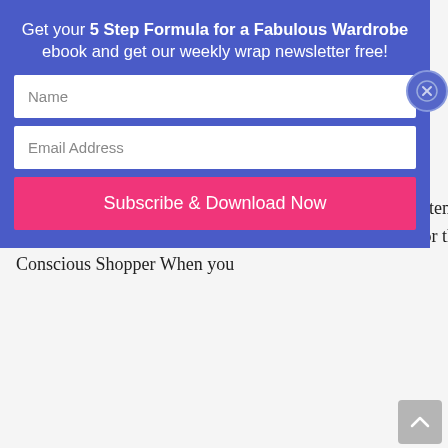Get your 5 Step Formula for a Fabulous Wardrobe ebook and get our weekly wrap newsletter free!
Name
Email Address
Subscribe & Download Now
4 Questions to Help You Let Go of Expensive or Sentimental Clothing
Reader Questions, Videos, Wardrobe, Wellbeing • May 4, 2021 • 2 Comments
Some people find it easy to get rid of stuff but they are often the exception to the rule. The vast majority of us have a sentimental or emotional attachment to the time, money or the energy cost of an item.  Why You Should Become a More Conscious Shopper When you